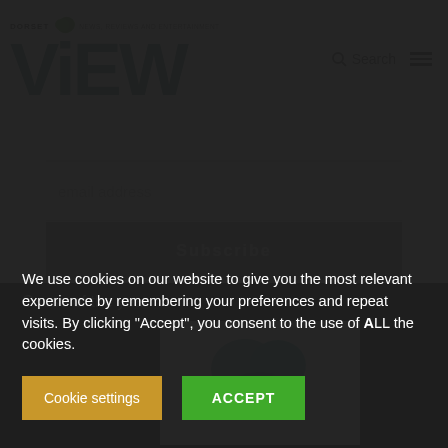DORSET ViEW — NEWS, REVIEWS AND ENTERTAINMENT
email address
Subscribe
Cause of the year
[Figure (logo): Teal/turquoise circular logo mark on white background]
We use cookies on our website to give you the most relevant experience by remembering your preferences and repeat visits. By clicking "Accept", you consent to the use of ALL the cookies.
Cookie settings
ACCEPT